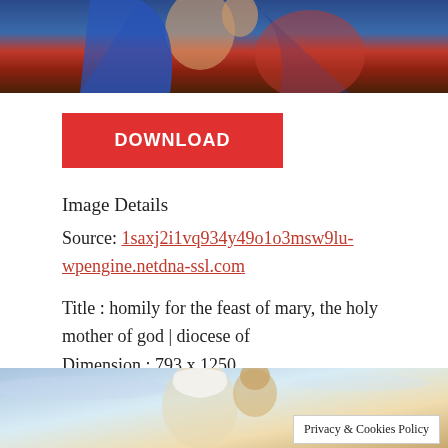[Figure (photo): Religious painting showing figures in blue and red robes, top portion cropped]
DOWNLOAD
Image Details
Source: 1saxj2i1vq934y49o1o3msw9lu-wpengine.netdna-ssl.com
Title : homily for the feast of mary, the holy mother of god | diocese of
Dimension : 793 x 1250
File Type : JPG/JPEG
[Figure (photo): Religious painting of Madonna and child, woman in white head covering kissing a curly-haired child against a sky background]
Privacy & Cookies Policy